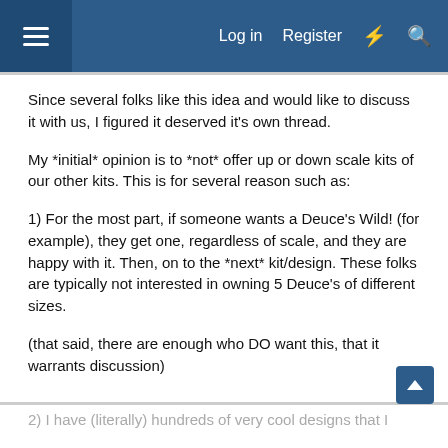Log in  Register
Since several folks like this idea and would like to discuss it with us, I figured it deserved it's own thread.
My *initial* opinion is to *not* offer up or down scale kits of our other kits. This is for several reason such as:
1) For the most part, if someone wants a Deuce's Wild! (for example), they get one, regardless of scale, and they are happy with it. Then, on to the *next* kit/design. These folks are typically not interested in owning 5 Deuce's of different sizes.
(that said, there are enough who DO want this, that it warrants discussion)
2) I have (literally) hundreds of very cool designs that I